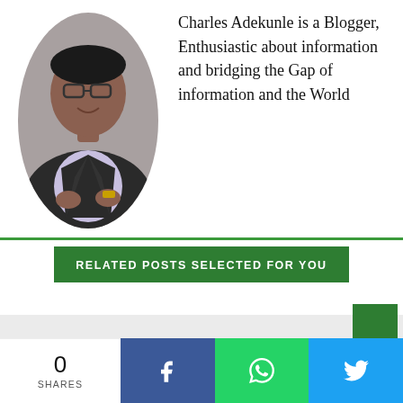[Figure (photo): Oval-cropped photo of a young man (Charles Adekunle) wearing glasses, a grey blazer over a light lavender shirt, smiling at the camera]
Charles Adekunle is a Blogger, Enthusiastic about information and bridging the Gap of information and the World
RELATED POSTS SELECTED FOR YOU
[Figure (photo): Partially visible thumbnail images at the bottom of the page below the related posts header]
0
SHARES